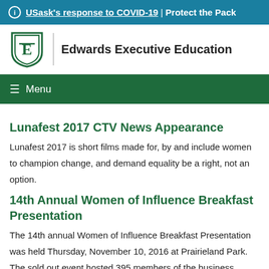ⓘ USask's response to COVID-19 | Protect the Pack
[Figure (logo): Edwards Executive Education shield logo with stylized E]
Edwards Executive Education
≡ Menu
Lunafest 2017 CTV News Appearance
Lunafest 2017 is short films made for, by and include women to champion change, and demand equality be a right, not an option.
14th Annual Women of Influence Breakfast Presentation
The 14th annual Women of Influence Breakfast Presentation was held Thursday, November 10, 2016 at Prairieland Park. The sold out event hosted 395 members of the business